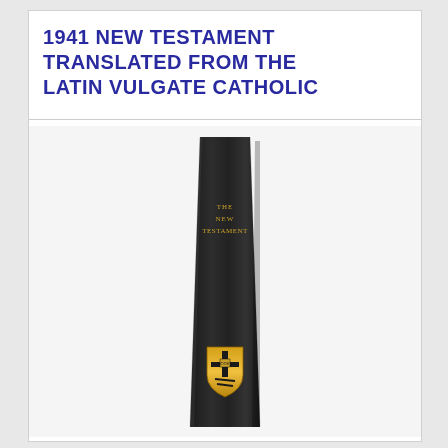1941 NEW TESTAMENT TRANSLATED FROM THE LATIN VULGATE CATHOLIC
[Figure (photo): Photo of a black leather-bound book spine showing the text 'THE NEW TESTAMENT' in gold lettering near the top and a gold publisher's shield/crest emblem near the bottom of the spine.]